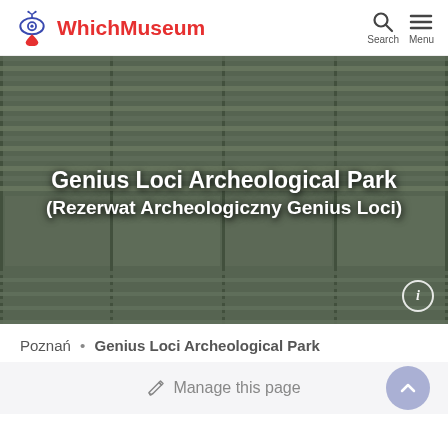WhichMuseum
[Figure (photo): Exterior photograph of the Genius Loci Archeological Park building, showing horizontal metal louvers and glass facade, with bold white text overlay reading 'Genius Loci Archeological Park (Rezerwat Archeologiczny Genius Loci)']
Genius Loci Archeological Park (Rezerwat Archeologiczny Genius Loci)
Poznań • Genius Loci Archeological Park
Manage this page